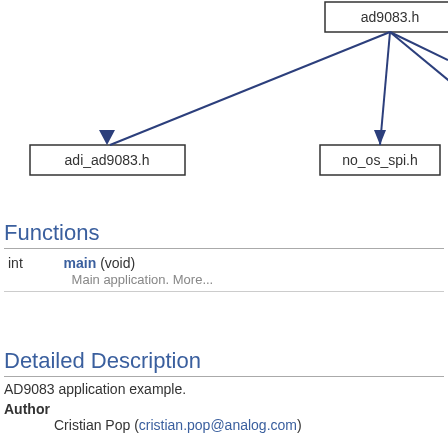[Figure (engineering-diagram): Dependency graph showing ad9083.h at top with arrows pointing down to adi_ad9083.h, no_os_spi.h, and no_os_gpio.h nodes. Additional lines extend off-screen to the right.]
Functions
| Type | Name | Description |
| --- | --- | --- |
| int | main (void) | Main application. More... |
Detailed Description
AD9083 application example.
Author
Cristian Pop (cristian.pop@analog.com)